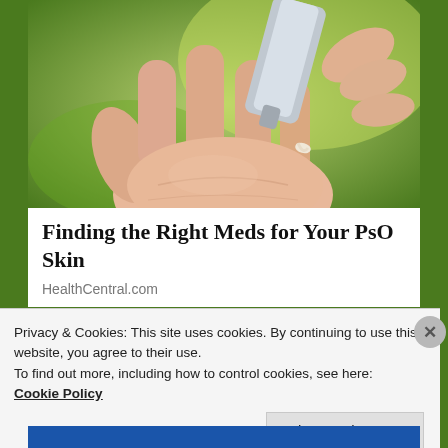[Figure (photo): Close-up photo of a hand with palm open, and another hand squeezing a cream/ointment tube onto the palm, set against a green bokeh background.]
Finding the Right Meds for Your PsO Skin
HealthCentral.com
Privacy & Cookies: This site uses cookies. By continuing to use this website, you agree to their use.
To find out more, including how to control cookies, see here: Cookie Policy
Close and accept